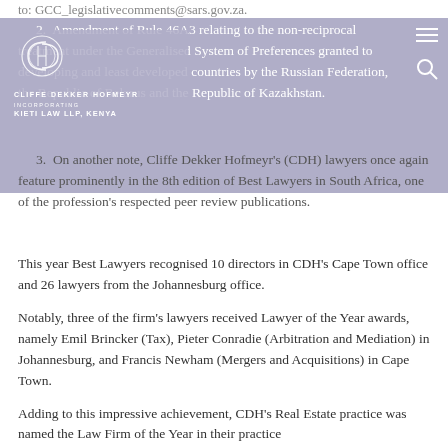to: GCC_legislativecomments@sars.gov.za.
2. Amendment of Rule 46A3 relating to the non-reciprocal treatment under the Generalised System of Preferences granted to developing and least developed countries by the Russian Federation, the Republic of Belarus and the Republic of Kazakhstan.
3. On another note, Cliffe Dekker Hofmeyr's (CDH) lawyers once again feature prominently in the 8th edition of Best Lawyers in South Africa, one of the profession's respected peer review publications.
This year Best Lawyers recognised 10 directors in CDH's Cape Town office and 26 lawyers from the Johannesburg office.
Notably, three of the firm's lawyers received Lawyer of the Year awards, namely Emil Brincker (Tax), Pieter Conradie (Arbitration and Mediation) in Johannesburg, and Francis Newham (Mergers and Acquisitions) in Cape Town.
Adding to this impressive achievement, CDH's Real Estate practice was named the Law Firm of the Year in their practice